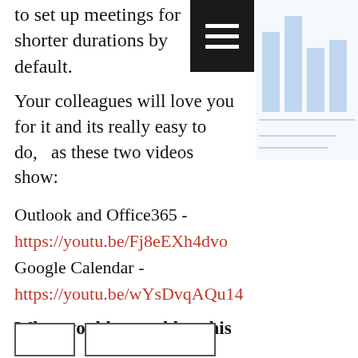to set up meetings for shorter durations by default.
Your colleagues will love you for it and its really easy to do,   as these two videos show:
Outlook and Office365 - https://youtu.be/Fj8eEXh4dvo Google Calendar - https://youtu.be/wYsDvqAQu14
What would you add to this list?
If anyone has any other ideas to make the best hybrid meetings that work well for everyone,   please post them in the Linkedin comments